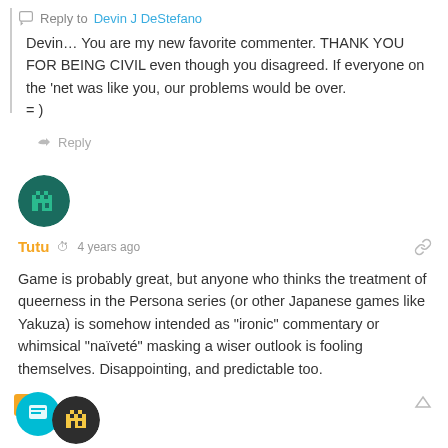Reply to Devin J DeStefano
Devin… You are my new favorite commenter. THANK YOU FOR BEING CIVIL even though you disagreed. If everyone on the 'net was like you, our problems would be over.
= )
Reply
[Figure (illustration): User avatar icon — green circular avatar with pixel art crown/castle icon]
Tutu  4 years ago
Game is probably great, but anyone who thinks the treatment of queerness in the Persona series (or other Japanese games like Yakuza) is somehow intended as "ironic" commentary or whimsical "naïveté" masking a wiser outlook is fooling themselves. Disappointing, and predictable too.
21 Reply